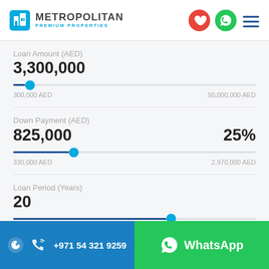[Figure (logo): Metropolitan Premium Properties logo with blue building icon and teal/cyan subtitle text]
Loan Amount (AED)
3,300,000
300,000 AED — 50,000,000 AED
Down Payment (AED)
825,000 — 25%
330,000 AED — 2,970,000 AED
Loan Period (Years)
20
3 years — 30 years
+971 54 321 9259   WhatsApp